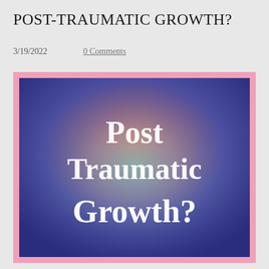POST-TRAUMATIC GROWTH?
3/19/2022       0 Comments
[Figure (illustration): Colorful gradient image with blue, purple, red/coral, and teal colors. Large bold white text reads 'Post Traumatic Growth?' stacked in three lines, with a glowing halo effect behind the text. Image has a pink border.]